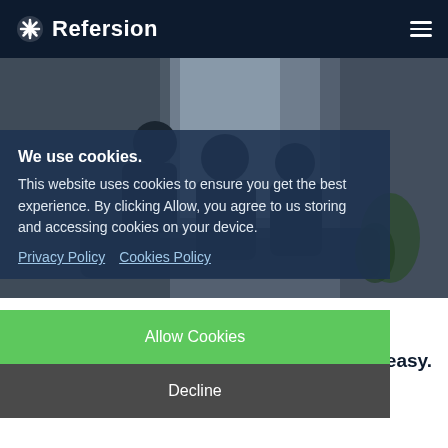Refersion
[Figure (photo): Family scene — people sitting together indoors near a window with plants, semi-dark/moody lighting, used as hero background image]
We use cookies.
This website uses cookies to ensure you get the best experience. By clicking Allow, you agree to us storing and accessing cookies on your device.
Privacy Policy   Cookies Policy
Allow Cookies
Our Story
Decline
It's time to make performance marketing easy. Refersion is